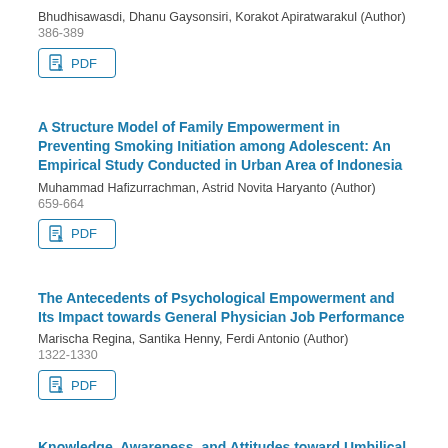Bhudhisawasdi, Dhanu Gaysonsiri, Korakot Apiratwarakul (Author)
386-389
[Figure (other): PDF download button]
A Structure Model of Family Empowerment in Preventing Smoking Initiation among Adolescent: An Empirical Study Conducted in Urban Area of Indonesia
Muhammad Hafizurrachman, Astrid Novita Haryanto (Author)
659-664
[Figure (other): PDF download button]
The Antecedents of Psychological Empowerment and Its Impact towards General Physician Job Performance
Marischa Regina, Santika Henny, Ferdi Antonio (Author)
1322-1330
[Figure (other): PDF download button]
Knowledge, Awareness, and Attitudes toward Umbilical